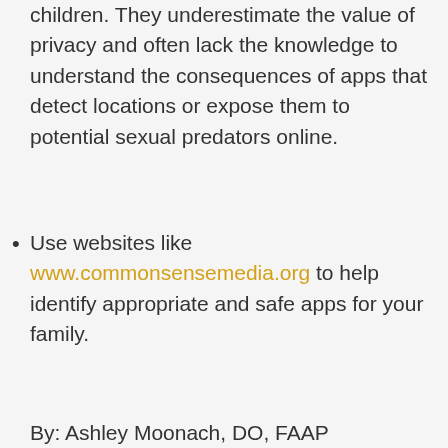children. They underestimate the value of privacy and often lack the knowledge to understand the consequences of apps that detect locations or expose them to potential sexual predators online.
Use websites like www.commonsensemedia.org to help identify appropriate and safe apps for your family.
By: Ashley Moonach, DO, FAAP